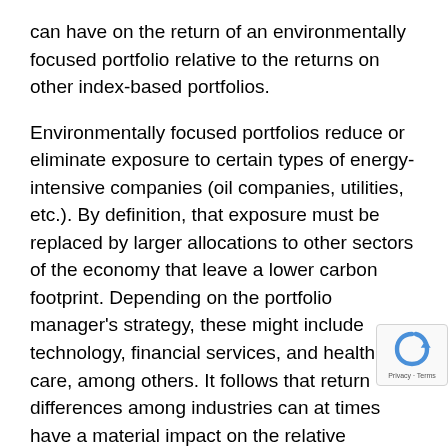can have on the return of an environmentally focused portfolio relative to the returns on other index-based portfolios.
Environmentally focused portfolios reduce or eliminate exposure to certain types of energy-intensive companies (oil companies, utilities, etc.). By definition, that exposure must be replaced by larger allocations to other sectors of the economy that leave a lower carbon footprint. Depending on the portfolio manager's strategy, these might include technology, financial services, and health care, among others. It follows that return differences among industries can at times have a material impact on the relative performance of environmental mandates.
This dynamic is always at play to some extent, but it becomes more apparent during volatile periods like the first quarter of 2020 or the first half of 2022.
Energy Underperformance in the First Quarter of 2020